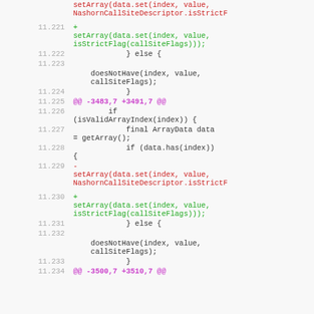[Figure (screenshot): Diff/patch view of source code showing line numbers and code changes with added (+), removed (-), and hunk (@@ ... @@) markers in a monospace font on a light gray background.]